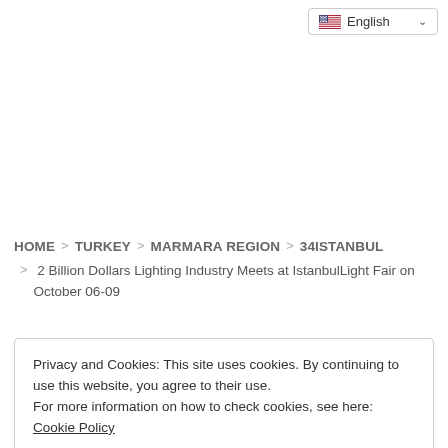[Figure (screenshot): Language selector dropdown showing English with US flag]
HOME > TURKEY > MARMARA REGION > 34ISTANBUL > 2 Billion Dollars Lighting Industry Meets at IstanbulLight Fair on October 06-09
Privacy and Cookies: This site uses cookies. By continuing to use this website, you agree to their use.
For more information on how to check cookies, see here: Cookie Policy
OK